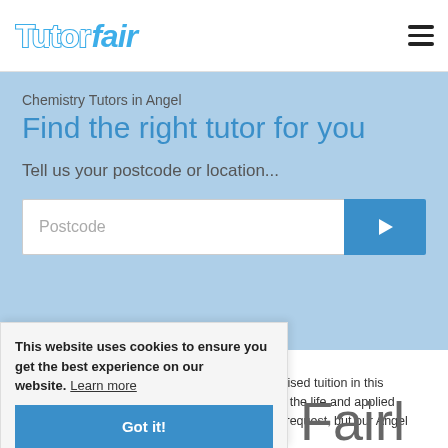Tutorfair [logo] [hamburger menu]
Chemistry Tutors in Angel
Find the right tutor for you
Tell us your postcode or location...
Postcode [search input with arrow button]
Our Angel Chemistry tutors can provide personalised tuition in this important subject that connects the physical with the life and applied sciences. Chemistry GCSE is a popular tutoring request, but our Angel
This website uses cookies to ensure you get the best experience on our website. Learn more
Got it!
Fairl